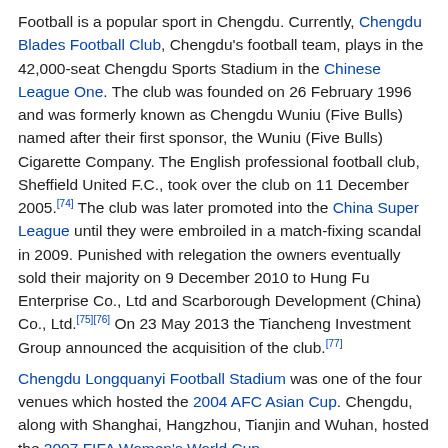Football is a popular sport in Chengdu. Currently, Chengdu Blades Football Club, Chengdu's football team, plays in the 42,000-seat Chengdu Sports Stadium in the Chinese League One. The club was founded on 26 February 1996 and was formerly known as Chengdu Wuniu (Five Bulls) named after their first sponsor, the Wuniu (Five Bulls) Cigarette Company. The English professional football club, Sheffield United F.C., took over the club on 11 December 2005.[74] The club was later promoted into the China Super League until they were embroiled in a match-fixing scandal in 2009. Punished with relegation the owners eventually sold their majority on 9 December 2010 to Hung Fu Enterprise Co., Ltd and Scarborough Development (China) Co., Ltd.[75][76] On 23 May 2013 the Tiancheng Investment Group announced the acquisition of the club.[77]
Chengdu Longquanyi Football Stadium was one of the four venues which hosted the 2004 AFC Asian Cup. Chengdu, along with Shanghai, Hangzhou, Tianjin and Wuhan, hosted the 2007 FIFA Women's World Cup.
Major sports venues